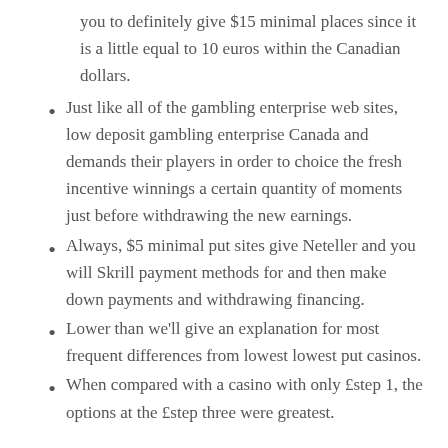you to definitely give $15 minimal places since it is a little equal to 10 euros within the Canadian dollars.
Just like all of the gambling enterprise web sites, low deposit gambling enterprise Canada and demands their players in order to choice the fresh incentive winnings a certain quantity of moments just before withdrawing the new earnings.
Always, $5 minimal put sites give Neteller and you will Skrill payment methods for and then make down payments and withdrawing financing.
Lower than we’ll give an explanation for most frequent differences from lowest lowest put casinos.
When compared with a casino with only £step 1, the options at the £step three were greatest.